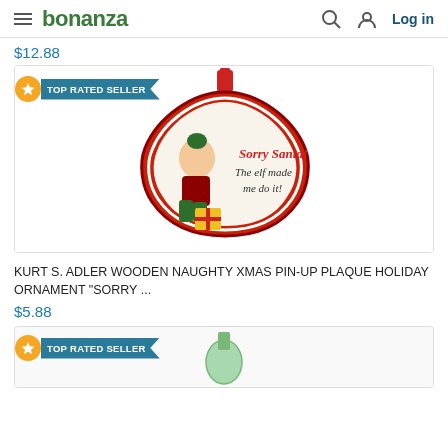bonanza  Log in
$12.88
[Figure (photo): Christmas ornament plaque featuring a pin-up style illustration of a woman with text 'Sorry Santa! The elf made me do it!' on a red decorative ornament background. TOP RATED SELLER badge shown.]
KURT S. ADLER WOODEN NAUGHTY XMAS PIN-UP PLAQUE HOLIDAY ORNAMENT "SORRY ...
$5.88
[Figure (photo): Partial view of another product card with TOP RATED SELLER badge, showing top portion of another ornament/figure on white background.]